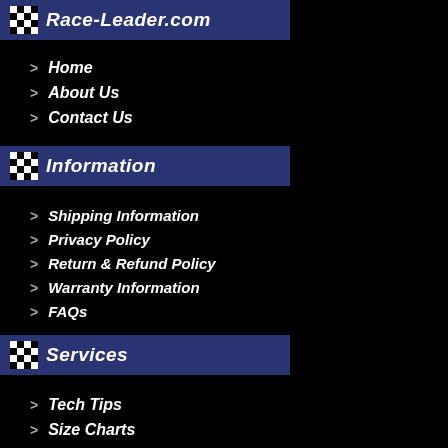Race-Leader.com
Home
About Us
Contact Us
Information
Shipping Information
Privacy Policy
Return & Refund Policy
Warranty Information
FAQs
Services
Tech Tips
Size Charts